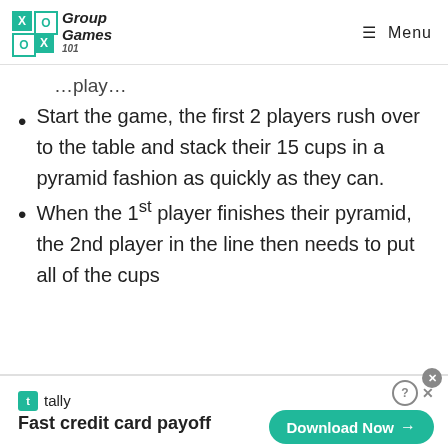Group Games 101 | Menu
…play…
Start the game, the first 2 players rush over to the table and stack their 15 cups in a pyramid fashion as quickly as they can.
When the 1st player finishes their pyramid, the 2nd player in the line then needs to put all of the cups
tally — Fast credit card payoff — Download Now